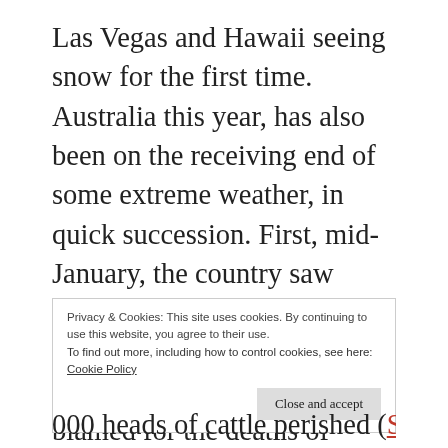Las Vegas and Hawaii seeing snow for the first time. Australia this year, has also been on the receiving end of some extreme weather, in quick succession. First, mid-January, the country saw temperatures rise beating a 20-year- record of 40.C (140 F). The heat wave has been blamed for the deaths of thousands of livestock and wildlife (The Scientist Magazine 2019).
Privacy & Cookies: This site uses cookies. By continuing to use this website, you agree to their use.
To find out more, including how to control cookies, see here: Cookie Policy
000 heads of cattle perished (Source B 2019)